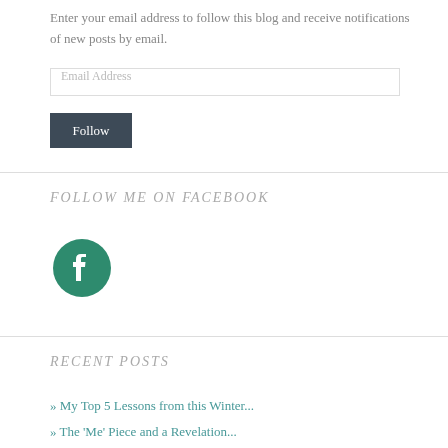Enter your email address to follow this blog and receive notifications of new posts by email.
[Figure (screenshot): Email Address input field with placeholder text]
Follow
FOLLOW ME ON FACEBOOK
[Figure (logo): Facebook circular logo icon in teal/green color]
RECENT POSTS
» My Top 5 Lessons from this Winter...
» The 'Me' Piece and a Revelation...